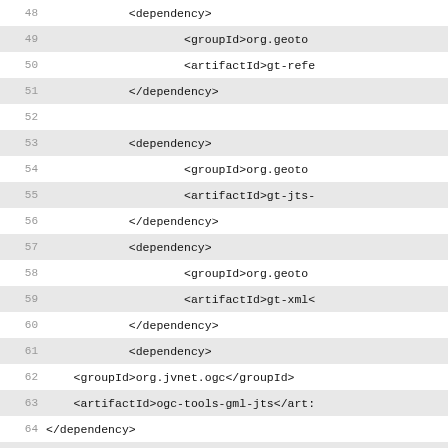[Figure (screenshot): Code editor screenshot showing XML Maven POM file lines 48-73 with alternating highlighted rows and line numbers. Content includes XML dependency tags for org.geotools, org.jvnet.ogc, com.sun.xml.bind artifacts.]